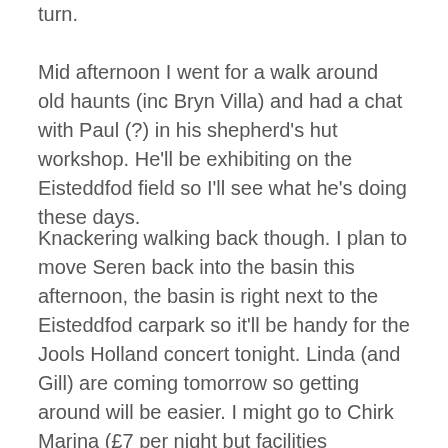turn.
Mid afternoon I went for a walk around old haunts (inc Bryn Villa) and had a chat with Paul (?) in his shepherd's hut workshop. He'll be exhibiting on the Eisteddfod field so I'll see what he's doing these days.
Knackering walking back though. I plan to move Seren back into the basin this afternoon, the basin is right next to the Eisteddfod carpark so it'll be handy for the Jools Holland concert tonight. Linda (and Gill) are coming tomorrow so getting around will be easier. I might go to Chirk Marina (£7 per night but facilities included) or I could come back here (Linda could drop me off / pick me up on the A5 at the campsite, there's a track through to the canal. (free but a hassle moving to get water, empty loo then